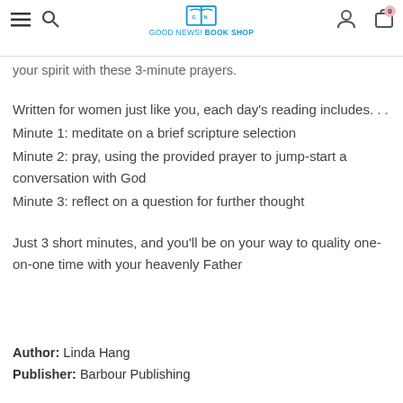GOOD NEWS! BOOK SHOP
your spirit with these 3-minute prayers.
Written for women just like you, each day's reading includes. . .
Minute 1: meditate on a brief scripture selection
Minute 2: pray, using the provided prayer to jump-start a conversation with God
Minute 3: reflect on a question for further thought
Just 3 short minutes, and you'll be on your way to quality one-on-one time with your heavenly Father
Author: Linda Hang
Publisher: Barbour Publishing